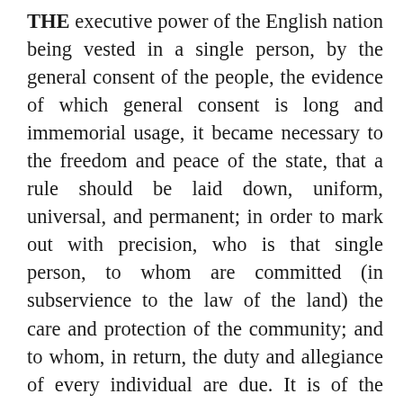THE executive power of the English nation being vested in a single person, by the general consent of the people, the evidence of which general consent is long and immemorial usage, it became necessary to the freedom and peace of the state, that a rule should be laid down, uniform, universal, and permanent; in order to mark out with precision, who is that single person, to whom are committed (in subservience to the law of the land) the care and protection of the community; and to whom, in return, the duty and allegiance of every individual are due. It is of the highest importance to the public tranquility, and to the consciences of private men, that this rule should be clear and indisputable: and our constitution has not left us in the dark upon this material occasion. It will therefore be the endeavor of this